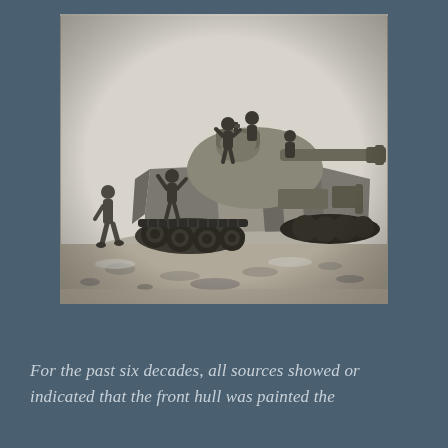[Figure (photo): Black and white photograph of a Sherman tank (M4 series) with several soldiers on and around it, on rocky/snowy terrain. The tank has a long gun barrel pointing to the right, visible road wheels and tracks, and markings on the side. Multiple soldiers in winter gear are climbing on or standing near the tank.]
For the past six decades, all sources showed or indicated that the front hull was painted the